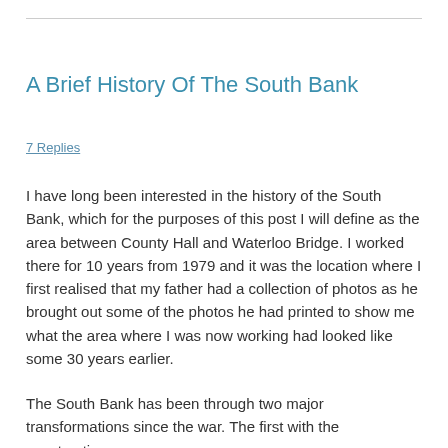A Brief History Of The South Bank
7 Replies
I have long been interested in the history of the South Bank, which for the purposes of this post I will define as the area between County Hall and Waterloo Bridge. I worked there for 10 years from 1979 and it was the location where I first realised that my father had a collection of photos as he brought out some of the photos he had printed to show me what the area where I was now working had looked like some 30 years earlier.
The South Bank has been through two major transformations since the war. The first with the construction